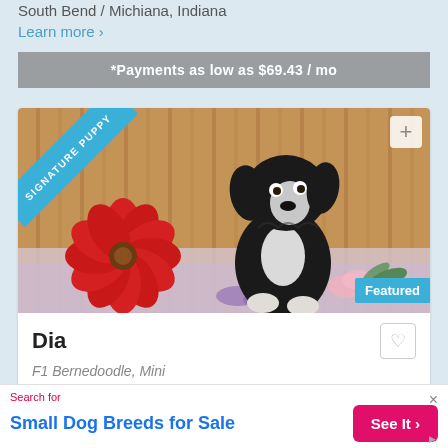South Bend / Michiana, Indiana
Learn more ›
*Payments as low as $69.43 / mo
[Figure (photo): Black and white mini Bernedoodle puppy sitting among red and pink flowers against a wood-plank background. Has a 'SIGNATURE PUPPY' diagonal ribbon badge in the top-left corner, a '+' button in the top-right, and a 'Featured' badge in the bottom-right.]
Dia
F1 Bernedoodle, Mini
Search for
Small Dog Breeds for Sale
See It ›